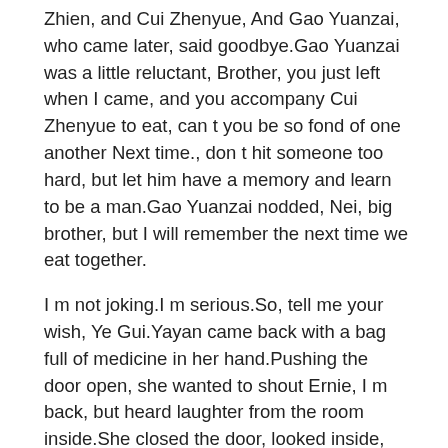Zhien, and Cui Zhenyue, And Gao Yuanzai, who came later, said goodbye.Gao Yuanzai was a little reluctant, Brother, you just left when I came, and you accompany Cui Zhenyue to eat, can t you be so fond of one another Next time., don t hit someone too hard, but let him have a memory and learn to be a man.Gao Yuanzai nodded, Nei, big brother, but I will remember the next time we eat together.
I m not joking.I m serious.So, tell me your wish, Ye Gui.Yayan came back with a bag full of medicine in her hand.Pushing the door open, she wanted to shout Ernie, I m back, but heard laughter from the room inside.She closed the door, looked inside, and saw Lin Yuner leaning on the bedside on the phone.Listen to the content a little more.Well, it really is Ye Guixi.She could only keep quiet.While packing the medicine and listening to the laughter that Lin Yuner often heard inside, she was actually in a happy mood.After CBD Oil And Hemp Oil all, on this day, she basically didn t hear Lin Yuner s laughter, she only covered her polite smile when she can you take a cbd gummy with alcohol was tired.The day she was gone, I m afraid it would be the same.But this moment is full of blood and